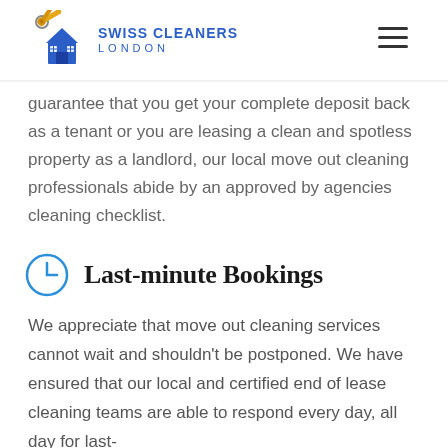SWISS CLEANERS LONDON
guarantee that you get your complete deposit back as a tenant or you are leasing a clean and spotless property as a landlord, our local move out cleaning professionals abide by an approved by agencies cleaning checklist.
Last-minute Bookings
We appreciate that move out cleaning services cannot wait and shouldn't be postponed. We have ensured that our local and certified end of lease cleaning teams are able to respond every day, all day for last-